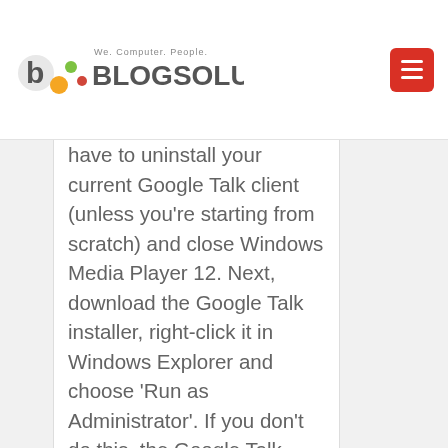Blogsolute — We. Computer. People.
have to uninstall your current Google Talk client (unless you're starting from scratch) and close Windows Media Player 12. Next, download the Google Talk installer, right-click it in Windows Explorer and choose 'Run as Administrator'. If you don't do this, the Google Talk setup won't install the functionality required by this plug-in. Don't really know why the Google Talk setup doesn't show an UAC prompt in the first place and